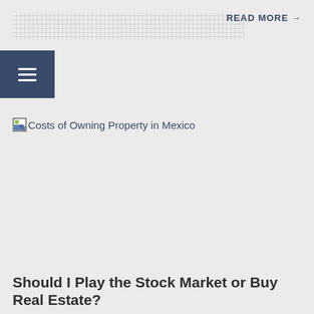READ MORE →
[Figure (other): Broken image placeholder labeled 'Costs of Owning Property in Mexico' on a light gray background]
Should I Play the Stock Market or Buy Real Estate?